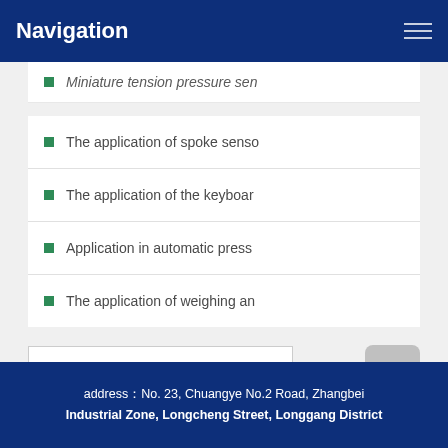Navigation
Miniature tension pressure sen
The application of spoke senso
The application of the keyboar
Application in automatic press
The application of weighing an
Recommended products
address：No. 23, Chuangye No.2 Road, Zhangbei Industrial Zone, Longcheng Street, Longgang District